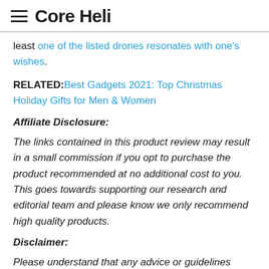Core Heli
least one of the listed drones resonates with one's wishes.
RELATED: Best Gadgets 2021: Top Christmas Holiday Gifts for Men & Women
Affiliate Disclosure:
The links contained in this product review may result in a small commission if you opt to purchase the product recommended at no additional cost to you. This goes towards supporting our research and editorial team and please know we only recommend high quality products.
Disclaimer:
Please understand that any advice or guidelines